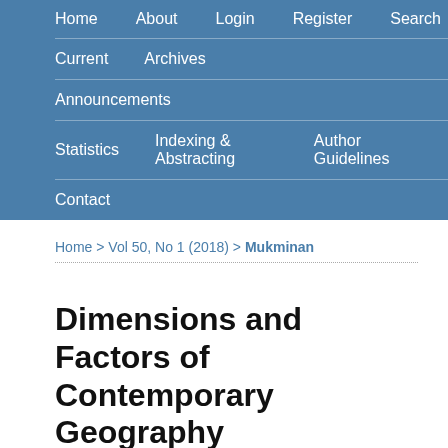Home   About   Login   Register   Search
Current   Archives
Announcements
Statistics   Indexing & Abstracting   Author Guidelines
Contact
Home > Vol 50, No 1 (2018) > Mukminan
Dimensions and Factors of Contemporary Geography